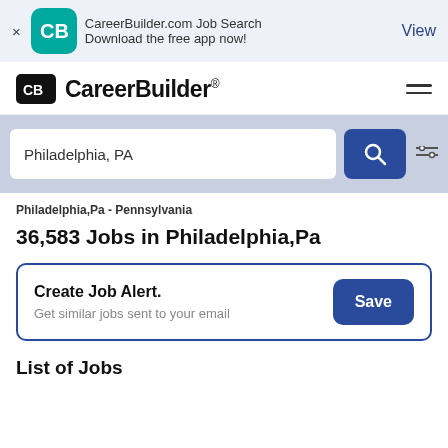[Figure (screenshot): App banner with CareerBuilder logo icon, text 'CareerBuilder.com Job Search' and 'Download the free app now!', and 'View' link]
[Figure (logo): CareerBuilder logo with CB icon and brand name]
Philadelphia, PA
Philadelphia,Pa - Pennsylvania
36,583 Jobs in Philadelphia,Pa
Create Job Alert.
Get similar jobs sent to your email
List of Jobs